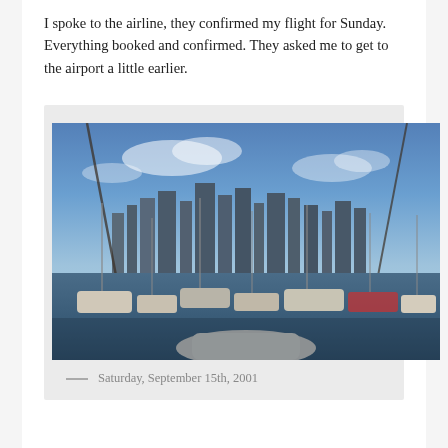I spoke to the airline, they confirmed my flight for Sunday. Everything booked and confirmed. They asked me to get to the airport a little earlier.
[Figure (photo): A marina with many sailboats and motor boats docked, with a city skyline visible in the background under a partly cloudy blue sky.]
— Saturday, September 15th, 2001